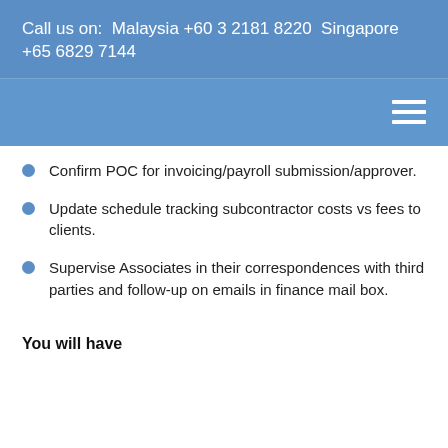Call us on:  Malaysia +60 3 2181 8220  Singapore +65 6829 7144
Confirm POC for invoicing/payroll submission/approver.
Update schedule tracking subcontractor costs vs fees to clients.
Supervise Associates in their correspondences with third parties and follow-up on emails in finance mail box.
You will have